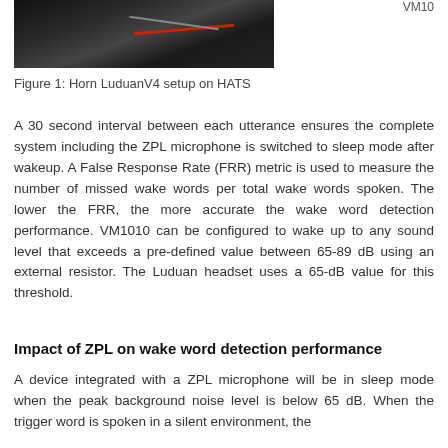VM10
[Figure (photo): Photo of Horn LuduanV4 setup on HATS device, dark background with wires visible]
Figure 1: Horn LuduanV4 setup on HATS
A 30 second interval between each utterance ensures the complete system including the ZPL microphone is switched to sleep mode after wakeup. A False Response Rate (FRR) metric is used to measure the number of missed wake words per total wake words spoken. The lower the FRR, the more accurate the wake word detection performance. VM1010 can be configured to wake up to any sound level that exceeds a pre-defined value between 65-89 dB using an external resistor. The Luduan headset uses a 65-dB value for this threshold.
Impact of ZPL on wake word detection performance
A device integrated with a ZPL microphone will be in sleep mode when the peak background noise level is below 65 dB. When the trigger word is spoken in a silent environment, the